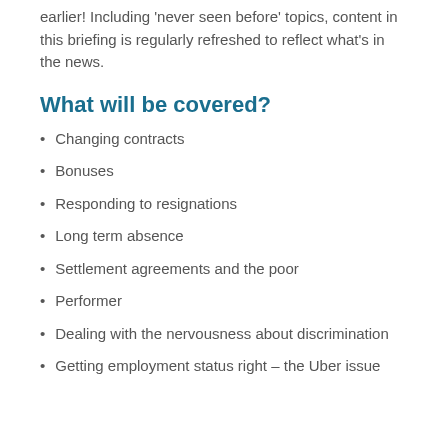earlier! Including 'never seen before' topics, content in this briefing is regularly refreshed to reflect what's in the news.
What will be covered?
Changing contracts
Bonuses
Responding to resignations
Long term absence
Settlement agreements and the poor
Performer
Dealing with the nervousness about discrimination
Getting employment status right – the Uber issue